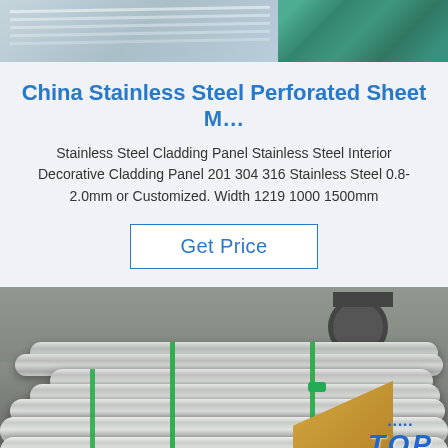[Figure (photo): Top portion of stainless steel sheets/panels photo, showing metallic sheets on left and teal/green material on right]
China Stainless Steel Perforated Sheet M…
Stainless Steel Cladding Panel Stainless Steel Interior Decorative Cladding Panel 201 304 316 Stainless Steel 0.8-2.0mm or Customized. Width 1219 1000 1500mm
Get Price
[Figure (photo): Warehouse photo showing multiple bundled stainless steel tubes/rods on a factory floor, bound with green straps, with a TOP company logo watermark in the bottom right corner on a cardboard box]